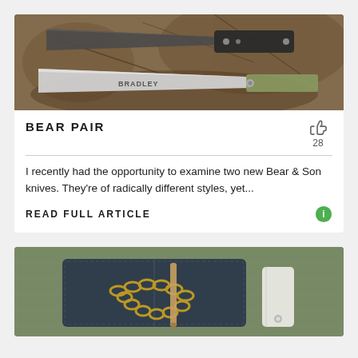[Figure (photo): Two knives laid on a rocky/wood surface. A black-handled knife at top and a silver-bladed knife labeled BRADLEY below it.]
BEAR PAIR
I recently had the opportunity to examine two new Bear & Son knives. They're of radically different styles, yet...
READ FULL ARTICLE
[Figure (photo): A dark navy blue folded leather/fabric case with a gold chain bracelet and a pencil on a green textured background.]